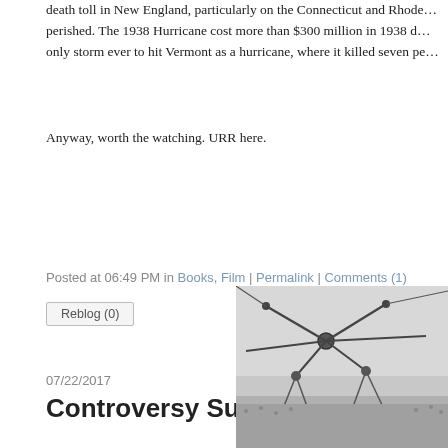death toll in New England, particularly on the Connecticut and Rhode Island coasts where hundreds perished.  The 1938 Hurricane cost more than $300 million in 1938 dollars.  It was also the only storm ever to hit Vermont as a hurricane, where it killed seven pe…
Anyway, worth the watching.  URR here.
Posted at 06:49 PM in Books, Film | Permalink | Comments (1)
Reblog (0)
07/22/2017
Controversy Surrounding Nolan's "Dunkirk"
[Figure (photo): Black and white historical photo showing aircraft or machinery overhead and crowds below, related to Dunkirk]